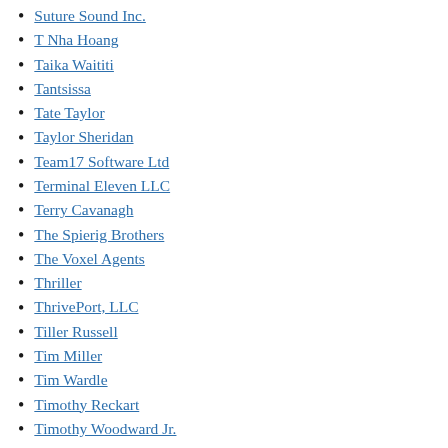Suture Sound Inc.
T Nha Hoang
Taika Waititi
Tantsissa
Tate Taylor
Taylor Sheridan
Team17 Software Ltd
Terminal Eleven LLC
Terry Cavanagh
The Spierig Brothers
The Voxel Agents
Thriller
ThrivePort, LLC
Tiller Russell
Tim Miller
Tim Wardle
Timothy Reckart
Timothy Woodward Jr.
Tips